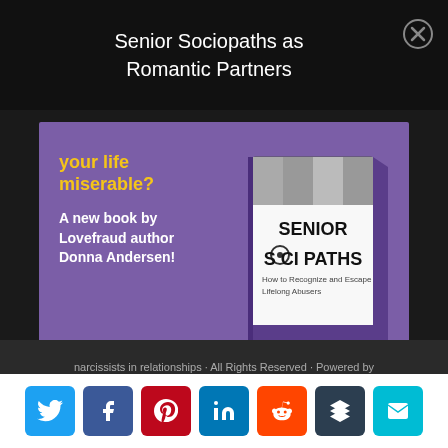Senior Sociopaths as Romantic Partners
[Figure (illustration): Book advertisement for 'Senior Sociopaths' by Donna Andersen. Purple background with text 'making your life miserable? A new book by Lovefraud author Donna Andersen!' and a book cover showing 'Senior Sociopaths: How to Recognize and Escape Lifelong Abusers' by Donna Andersen.]
narcissists in relationships · All Rights Reserved · Powered by Mai Theme
620
[Figure (infographic): Social sharing buttons: Twitter, Facebook, Pinterest, LinkedIn, Reddit, Buffer, Email]